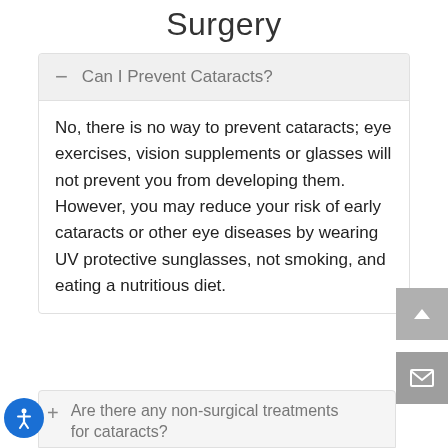Surgery
Can I Prevent Cataracts?
No, there is no way to prevent cataracts; eye exercises, vision supplements or glasses will not prevent you from developing them. However, you may reduce your risk of early cataracts or other eye diseases by wearing UV protective sunglasses, not smoking, and eating a nutritious diet.
Are there any non-surgical treatments for cataracts?